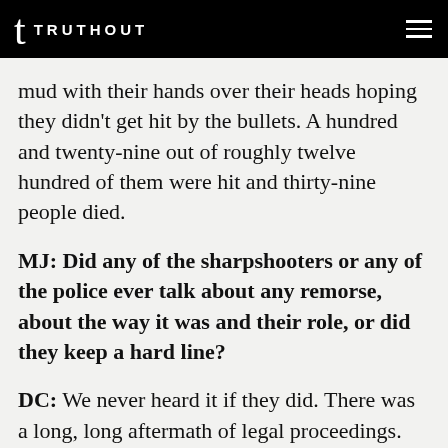TRUTHOUT
mud with their hands over their heads hoping they didn't get hit by the bullets. A hundred and twenty-nine out of roughly twelve hundred of them were hit and thirty-nine people died.
MJ: Did any of the sharpshooters or any of the police ever talk about any remorse, about the way it was and their role, or did they keep a hard line?
DC: We never heard it if they did. There was a long, long aftermath of legal proceedings. They